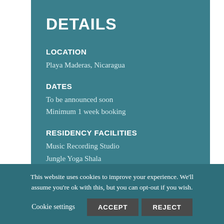DETAILS
LOCATION
Playa Maderas, Nicaragua
DATES
To be announced soon
Minimum 1 week booking
RESIDENCY FACILITIES
Music Recording Studio
Jungle Yoga Shala
Indoor Movement Floor
Co-Working Space
Visual Arts Studio
On-Site Restaurant
This website uses cookies to improve your experience. We'll assume you're ok with this, but you can opt-out if you wish.
Cookie settings   ACCEPT   REJECT